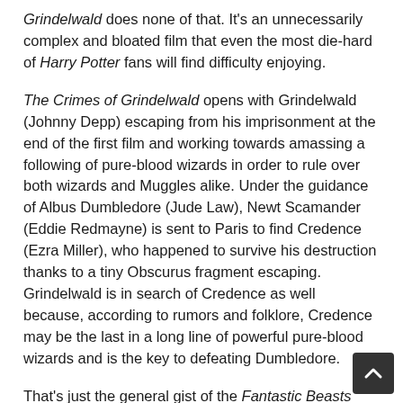Grindelwald does none of that. It's an unnecessarily complex and bloated film that even the most die-hard of Harry Potter fans will find difficulty enjoying.
The Crimes of Grindelwald opens with Grindelwald (Johnny Depp) escaping from his imprisonment at the end of the first film and working towards amassing a following of pure-blood wizards in order to rule over both wizards and Muggles alike. Under the guidance of Albus Dumbledore (Jude Law), Newt Scamander (Eddie Redmayne) is sent to Paris to find Credence (Ezra Miller), who happened to survive his destruction thanks to a tiny Obscurus fragment escaping. Grindelwald is in search of Credence as well because, according to rumors and folklore, Credence may be the last in a long line of powerful pure-blood wizards and is the key to defeating Dumbledore.
That's just the general gist of the Fantastic Beasts sequel, but the story is so much more complicated than that. Newt honestly is secondary to the ridiculousness that is both Dumbledore and Lestrange households. It's a magical